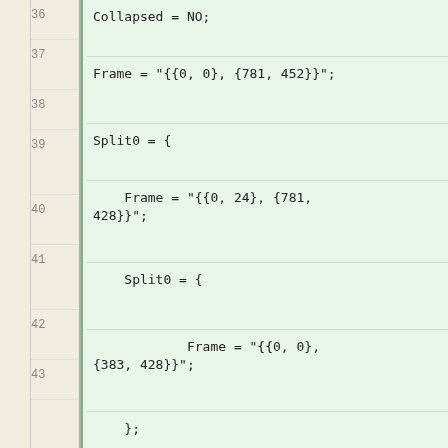36: Collapsed = NO;
37: Frame = "{{0, 0}, {781, 452}}";
38: Split0 = {
39:     Frame = "{{0, 24}, {781, 428}}";
40:     Split0 = {
41:             Frame = "{{0, 0}, {383, 428}}";
42:     };
43: